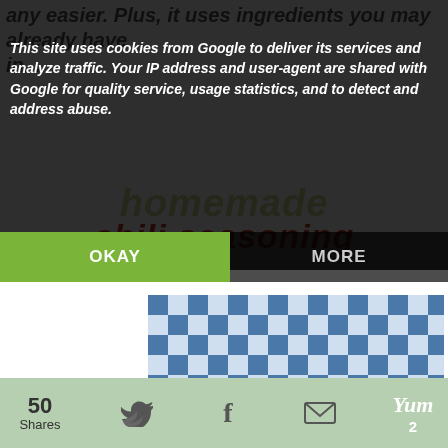any easier. Plus, it uses ingredients you may already have in...
This site uses cookies from Google to deliver its services and analyze traffic. Your IP address and user-agent are shared with Google for quality service, usage statistics, and to detect and address abuse.
OKAY
MORE
homemade chili seasoning
[Figure (photo): A glass jar filled with brown chili seasoning spice blend, with a metal spoon scooping the seasoning. Background is a blue and white checkered cloth.]
1
50 Shares
Yum 2